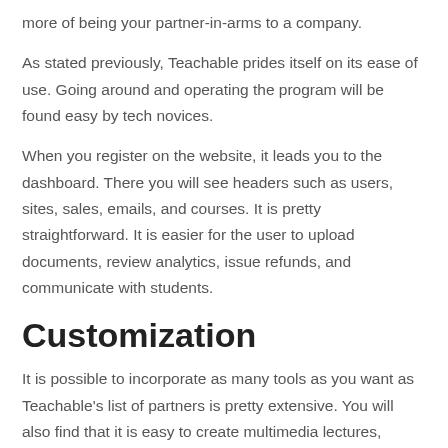more of being your partner-in-arms to a company.
As stated previously, Teachable prides itself on its ease of use. Going around and operating the program will be found easy by tech novices.
When you register on the website, it leads you to the dashboard. There you will see headers such as users, sites, sales, emails, and courses. It is pretty straightforward. It is easier for the user to upload documents, review analytics, issue refunds, and communicate with students.
Customization
It is possible to incorporate as many tools as you want as Teachable's list of partners is pretty extensive. You will also find that it is easy to create multimedia lectures, videos, homepage, and landing pages with their power editor.